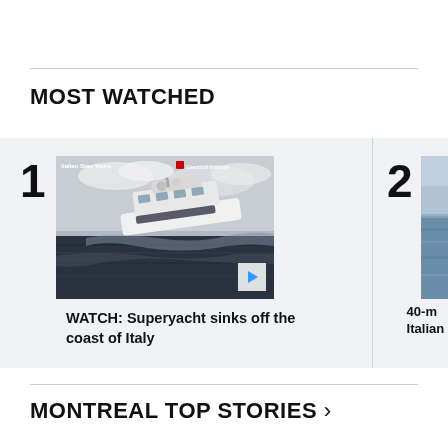MOST WATCHED
[Figure (photo): Video thumbnail showing a superyacht on rough water, tilting/sinking, with overlay text. Play button visible in bottom-right corner.]
WATCH: Superyacht sinks off the coast of Italy
[Figure (photo): Partially visible thumbnail of item 2, showing open sea/ocean water. Text partially visible: '40-m... Italia...']
MONTREAL TOP STORIES >